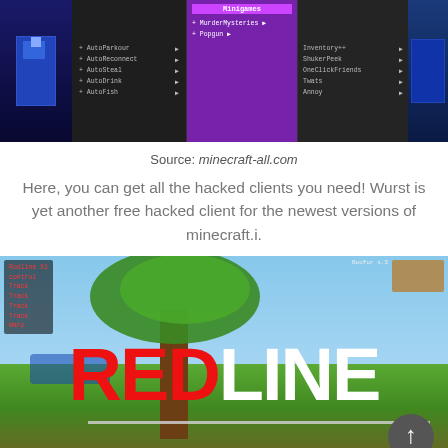[Figure (screenshot): Minecraft game screenshot showing a hacked client menu with panels: a dark panel with AutoParkour, AutoReconnect, AutoSteal, AutoDrink, AutoFish items; a purple Minigames panel with MurderMysteries and Popgun; and a right panel with Inventory++, ShukerPeek, OneClickFriends, Twats, Annoy entries. Blue pixel character figures on left and right sides.]
Source: minecraft-all.com
Here, you can get all the hacked clients you need! Wurst is yet another free hacked client for the newest versions of minecraft.i.
[Figure (screenshot): Minecraft game screenshot showing a skyblock-style world with a large tree, floating islands, water, and green terrain. A red-and-white 'REDLINE' logo is overlaid in large bold text across the center. A HUD overlay is visible in the top-left corner. A scroll-to-top button (upward arrow in dark circle) is in the bottom right.]